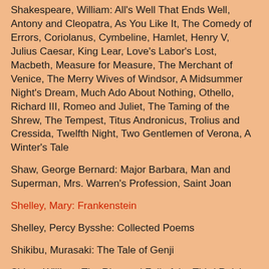Shakespeare, William: All's Well That Ends Well, Antony and Cleopatra, As You Like It, The Comedy of Errors, Coriolanus, Cymbeline, Hamlet, Henry V, Julius Caesar, King Lear, Love's Labor's Lost, Macbeth, Measure for Measure, The Merchant of Venice, The Merry Wives of Windsor, A Midsummer Night's Dream, Much Ado About Nothing, Othello, Richard III, Romeo and Juliet, The Taming of the Shrew, The Tempest, Titus Andronicus, Trolius and Cressida, Twelfth Night, Two Gentlemen of Verona, A Winter's Tale
Shaw, George Bernard: Major Barbara, Man and Superman, Mrs. Warren's Profession, Saint Joan
Shelley, Mary: Frankenstein
Shelley, Percy Bysshe: Collected Poems
Shikibu, Murasaki: The Tale of Genji
Shirer, William: The Rise and Fall of the Third Reich
Shonagon, Sei: The Pillow Book